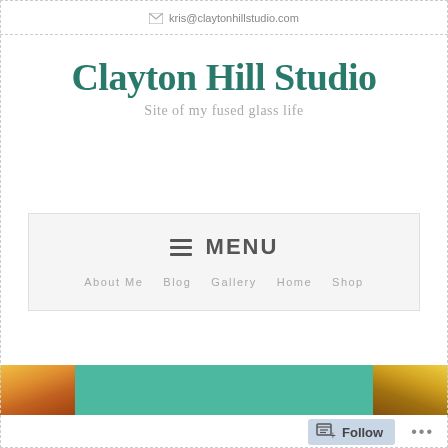kris@claytonhillstudio.com
Clayton Hill Studio
Site of my fused glass life
≡ MENU
About Me
Blog
Gallery
Home
Shop
[Figure (photo): Fused glass artwork strip showing colorful orange/yellow glass pieces on left, teal/green center panel, and yellow/orange glass on right]
Follow ...